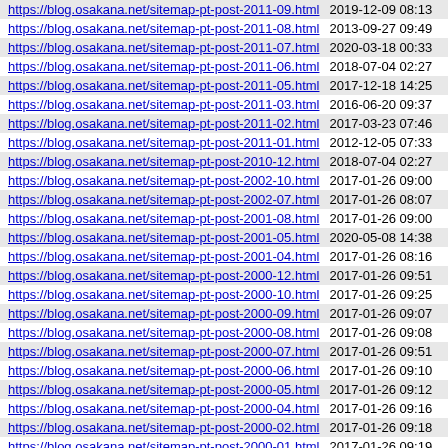https://blog.osakana.net/sitemap-pt-post-2011-09.html 2019-12-09 08:13
https://blog.osakana.net/sitemap-pt-post-2011-08.html 2013-09-27 09:49
https://blog.osakana.net/sitemap-pt-post-2011-07.html 2020-03-18 00:33
https://blog.osakana.net/sitemap-pt-post-2011-06.html 2018-07-04 02:27
https://blog.osakana.net/sitemap-pt-post-2011-05.html 2017-12-18 14:25
https://blog.osakana.net/sitemap-pt-post-2011-03.html 2016-06-20 09:37
https://blog.osakana.net/sitemap-pt-post-2011-02.html 2017-03-23 07:46
https://blog.osakana.net/sitemap-pt-post-2011-01.html 2012-12-05 07:33
https://blog.osakana.net/sitemap-pt-post-2010-12.html 2018-07-04 02:27
https://blog.osakana.net/sitemap-pt-post-2002-10.html 2017-01-26 09:00
https://blog.osakana.net/sitemap-pt-post-2002-07.html 2017-01-26 08:07
https://blog.osakana.net/sitemap-pt-post-2001-08.html 2017-01-26 09:00
https://blog.osakana.net/sitemap-pt-post-2001-05.html 2020-05-08 14:38
https://blog.osakana.net/sitemap-pt-post-2001-04.html 2017-01-26 08:16
https://blog.osakana.net/sitemap-pt-post-2000-12.html 2017-01-26 09:51
https://blog.osakana.net/sitemap-pt-post-2000-10.html 2017-01-26 09:25
https://blog.osakana.net/sitemap-pt-post-2000-09.html 2017-01-26 09:07
https://blog.osakana.net/sitemap-pt-post-2000-08.html 2017-01-26 09:08
https://blog.osakana.net/sitemap-pt-post-2000-07.html 2017-01-26 09:51
https://blog.osakana.net/sitemap-pt-post-2000-06.html 2017-01-26 09:10
https://blog.osakana.net/sitemap-pt-post-2000-05.html 2017-01-26 09:12
https://blog.osakana.net/sitemap-pt-post-2000-04.html 2017-01-26 09:16
https://blog.osakana.net/sitemap-pt-post-2000-02.html 2017-01-26 09:18
https://blog.osakana.net/sitemap-pt-post-2000-01.html 2017-01-26 09:19
https://blog.osakana.net/sitemap-pt-post-1999-10.html 2017-01-26 09:27
https://blog.osakana.net/sitemap-pt-post-1999-08.html 2017-01-26 09:27
https://blog.osakana.net/sitemap-pt-post-1999-07.html 2017-01-26 09:28
https://blog.osakana.net/sitemap-pt-post-1999-06.html 2017-01-26 09:30